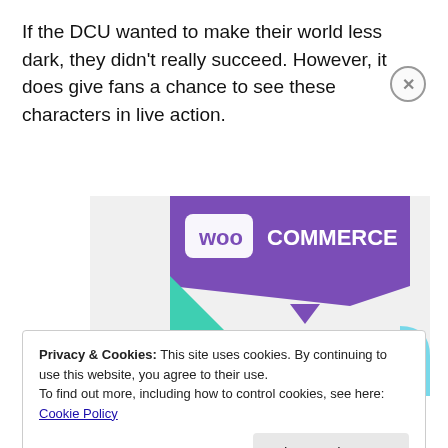If the DCU wanted to make their world less dark, they didn't really succeed. However, it does give fans a chance to see these characters in live action.
[Figure (illustration): WooCommerce advertisement banner showing 'How to start selling subscriptions online' with purple and teal geometric shapes on a light gray background.]
Privacy & Cookies: This site uses cookies. By continuing to use this website, you agree to their use.
To find out more, including how to control cookies, see here: Cookie Policy
Close and accept